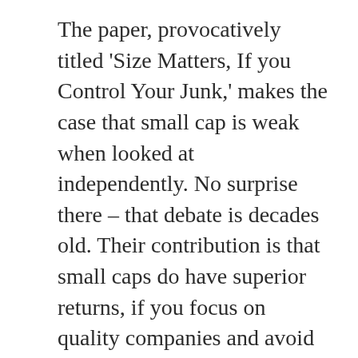The paper, provocatively titled 'Size Matters, If you Control Your Junk,' makes the case that small cap is weak when looked at independently. No surprise there – that debate is decades old. Their contribution is that small caps do have superior returns, if you focus on quality companies and avoid junky ones.
A few years ago, the same group of researchers wrote a paper, called Quality Minus Junk, that said that quality is an independent source of returns, like size, value and momentum.
In both papers, they argue that small caps work when factoring quality, but this new